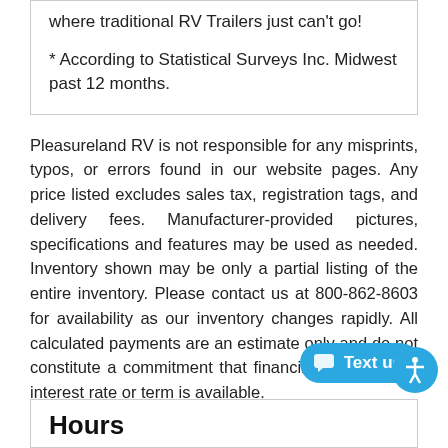where traditional RV Trailers just can't go!
* According to Statistical Surveys Inc. Midwest past 12 months.
Pleasureland RV is not responsible for any misprints, typos, or errors found in our website pages. Any price listed excludes sales tax, registration tags, and delivery fees. Manufacturer-provided pictures, specifications and features may be used as needed. Inventory shown may be only a partial listing of the entire inventory. Please contact us at 800-862-8603 for availability as our inventory changes rapidly. All calculated payments are an estimate only and do not constitute a commitment that financing or a specific interest rate or term is available.
Hours